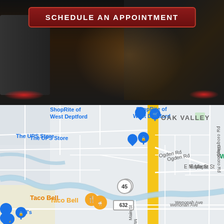[Figure (photo): Dark nighttime photo of cars with tail lights visible, suggesting traffic or a parking lot scene]
SCHEDULE AN APPOINTMENT
[Figure (map): Google Maps screenshot showing the area around Wenonah, NJ including Oak Valley, ShopRite of West Deptford, The UPS Store, Taco Bell, Woods of Wenonah, Route 45, Route 632, Ogden Rd, Glassboro Rd, E Maple St, W Mantua Ave, E Mantua Ave, Wenonah Ave, and Main St]